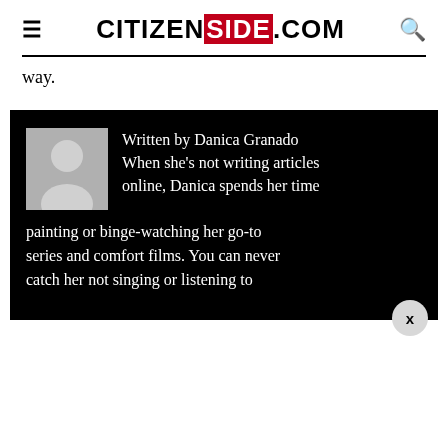CITIZENSIDE.COM
way.
[Figure (infographic): Author bio box with avatar placeholder and text: Written by Danica Granado. When she's not writing articles online, Danica spends her time painting or binge-watching her go-to series and comfort films. You can never catch her not singing or listening to]
Written by Danica Granado When she's not writing articles online, Danica spends her time painting or binge-watching her go-to series and comfort films. You can never catch her not singing or listening to